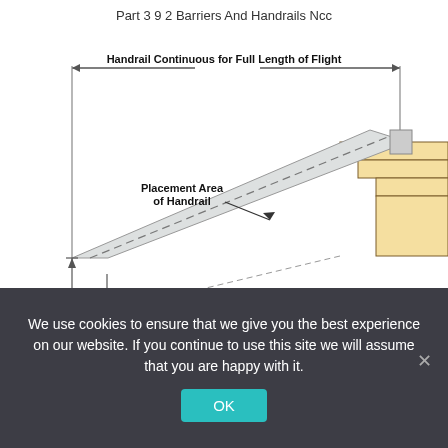Part 3 9 2 Barriers And Handrails Ncc
[Figure (engineering-diagram): Technical drawing of a staircase handrail showing: handrail continuous for full length of flight with arrows spanning the top, a dashed-line placement area of handrail label with leader line pointing to the handrail diagonal band, stair steps at bottom right in tan/yellow color, and a vertical dimension arrow indicating 38 inches at the bottom left.]
We use cookies to ensure that we give you the best experience on our website. If you continue to use this site we will assume that you are happy with it.